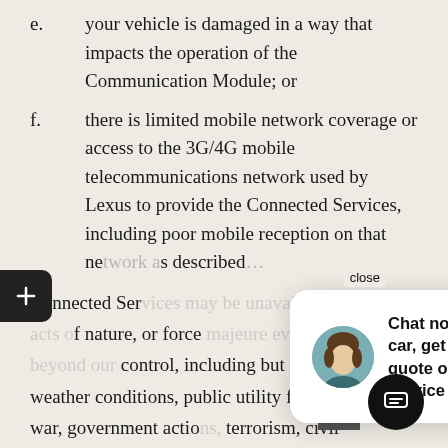e. your vehicle is damaged in a way that impacts the operation of the Communication Module; or
f. there is limited mobile network coverage or access to the 3G/4G mobile telecommunications network used by Lexus to provide the Connected Services, including poor mobile reception on that network as described
Connected Services [partially obscured] of nature, or force [partially obscured] control, including but not limited to weather conditions, public utility failure, acts of war, government action, terrorism, civil disturbances, wireless network congestion or system failures including internet, computer